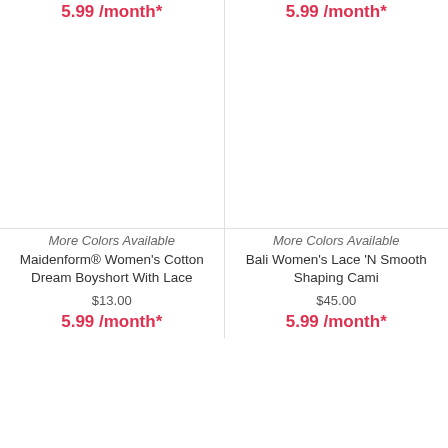5.99 /month*
5.99 /month*
More Colors Available
Maidenform® Women's Cotton Dream Boyshort With Lace
$13.00
5.99 /month*
More Colors Available
Bali Women's Lace 'N Smooth Shaping Cami
$45.00
5.99 /month*